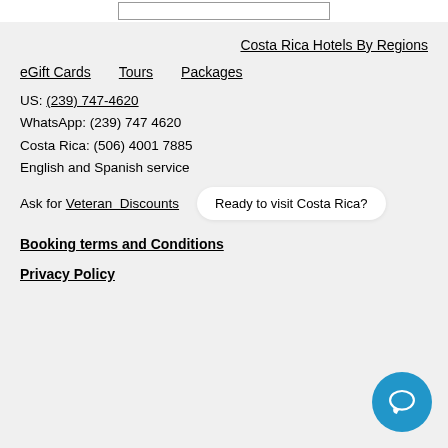[input box at top]
Costa Rica Hotels By Regions
eGift Cards    Tours    Packages
US: (239) 747-4620
WhatsApp: (239) 747 4620
Costa Rica: (506) 4001 7885
English and Spanish service
Ask for Veteran  Discounts
Ready to visit Costa Rica?
Booking terms and Conditions
Privacy Policy